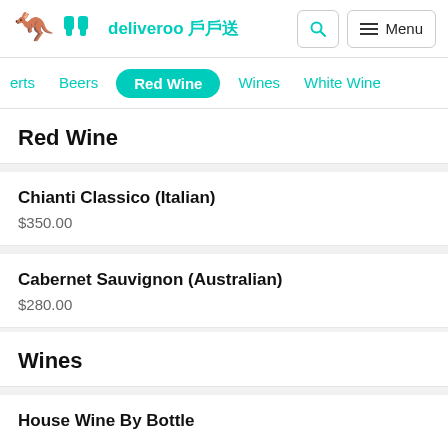deliveroo 戶戶送 [search] [Menu]
erts
Beers
Red Wine
Wines
White Wine
Red Wine
Chianti Classico (Italian)
$350.00
Cabernet Sauvignon (Australian)
$280.00
Wines
House Wine By Bottle